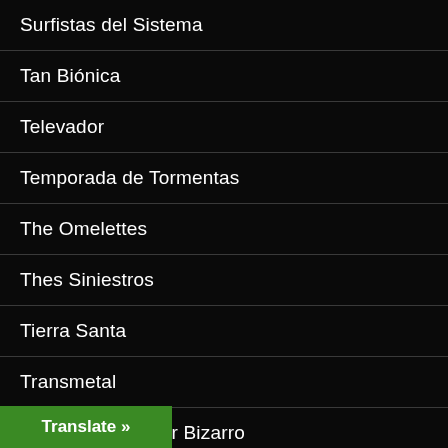Surfistas del Sistema
Tan Biónica
Televador
Temporada de Tormentas
The Omelettes
Thes Siniestros
Tierra Santa
Transmetal
Triángulo de Amor Bizarro
Trilitrate
Turf
Natural Señ... (partial, cut off)